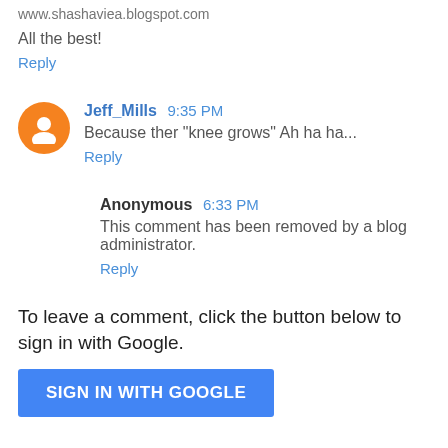www.shasnavirus.blogspot.com
All the best!
Reply
Jeff_Mills 9:35 PM
Because ther "knee grows" Ah ha ha...
Reply
Anonymous 6:33 PM
This comment has been removed by a blog administrator.
Reply
To leave a comment, click the button below to sign in with Google.
[Figure (other): SIGN IN WITH GOOGLE button]